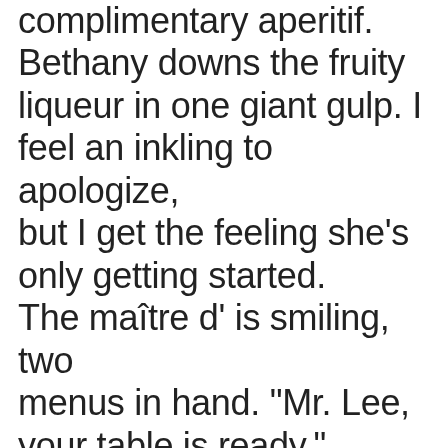complimentary aperitif. Bethany downs the fruity liqueur in one giant gulp. I feel an inkling to apologize, but I get the feeling she’s only getting started. The maître d’ is smiling, two menus in hand. “Mr. Lee, your table is ready.”
	I choke on the aperitif, coughing into my glass. My pen name. How does he know?
	The maître d’ gives me a curious look—he’s enjoying this. He starts my way, and I